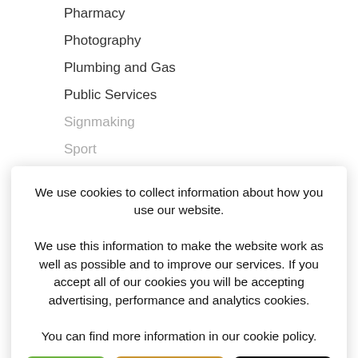Pharmacy
Photography
Plumbing and Gas
Public Services
Signmaking
Sport
Student Support
Supported Learning
T Levels
Teacher Training
University Level
Young People (14-16)
Painting and Decorating
We use cookies to collect information about how you use our website.
We use this information to make the website work as well as possible and to improve our services. If you accept all of our cookies you will be accepting advertising, performance and analytics cookies.
You can find more information in our cookie policy.
Accept All | Set Preferences | Cookie Policy